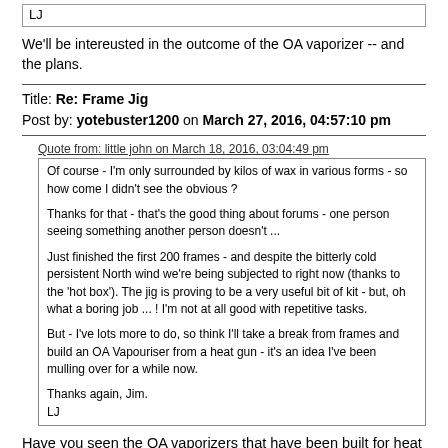LJ
We'll be intereusted in the outcome of the OA vaporizer -- and the plans.
Title: Re: Frame Jig
Post by: yotebuster1200 on March 27, 2016, 04:57:10 pm
Quote from: little john on March 18, 2016, 03:04:49 pm
Of course - I'm only surrounded by kilos of wax in various forms - so how come I didn't see the obvious ?

Thanks for that - that's the good thing about forums - one person seeing something another person doesn't ...

Just finished the first 200 frames - and despite the bitterly cold persistent North wind we're being subjected to right now (thanks to the 'hot box').  The jig is proving to be a very useful bit of kit - but, oh what a boring job ... !  I'm not at all good with repetitive tasks.

But - I've lots more to do, so think I'll take a break from frames and build an OA Vapouriser from a heat gun - it's an idea I've been mulling over for a while now.

Thanks again, Jim.
LJ
Have you seen the OA vaporizers that have been built for heat guns? There is one made in Italy that is pretty slick.  I am going to build one as well. I am pretty much going to copy that deaign.
Sent from my SM-N920R6 using Tapatalk